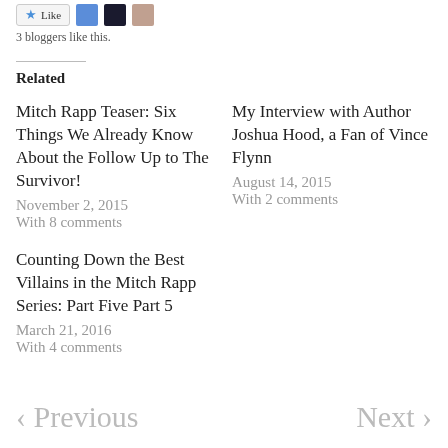[Figure (other): Like button with star icon and three blogger avatar thumbnails]
3 bloggers like this.
Related
Mitch Rapp Teaser: Six Things We Already Know About the Follow Up to The Survivor!
November 2, 2015
With 8 comments
My Interview with Author Joshua Hood, a Fan of Vince Flynn
August 14, 2015
With 2 comments
Counting Down the Best Villains in the Mitch Rapp Series: Part Five Part 5
March 21, 2016
With 4 comments
‹ Previous   Next ›